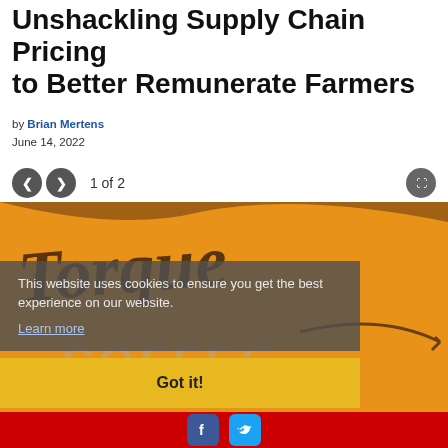Unshackling Supply Chain Pricing to Better Remunerate Farmers
by Brian Mertens
June 14, 2022
1 of 2
[Figure (photo): Torque Coffee branded image with orange background and large stylized text reading 'Torque COFFEE']
This website uses cookies to ensure you get the best experience on our website. Learn more
Got it!
Facebook and Twitter social share icons